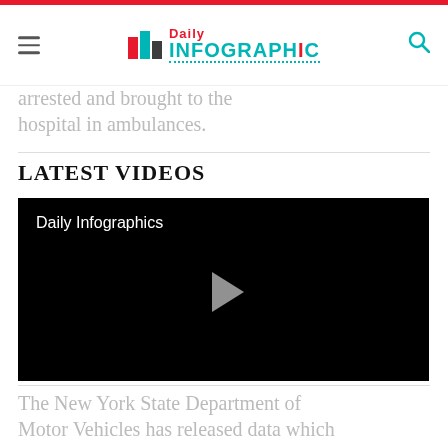Daily Infographic
...arrested and brought to the hospital in ambulances.
LATEST VIDEOS
[Figure (screenshot): Black video player thumbnail with title 'Daily Infographics' and a play button in the center]
The New York State Department of Motor Vehicles has released data which